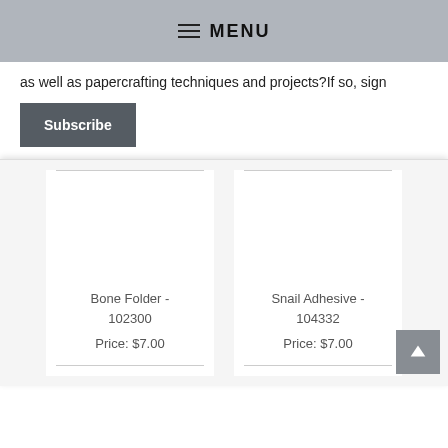MENU
as well as papercrafting techniques and projects?If so, sign
Subscribe
Bone Folder - 102300
Price: $7.00
Snail Adhesive - 104332
Price: $7.00